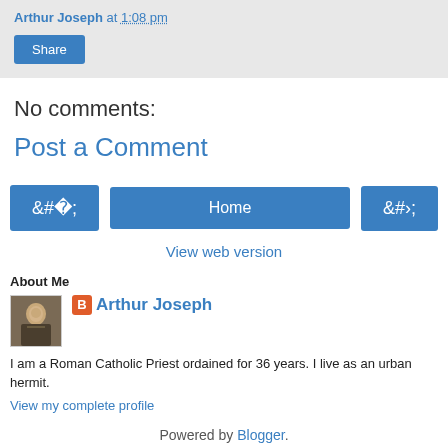Arthur Joseph at 1:08 pm
Share
No comments:
Post a Comment
‹
Home
›
View web version
About Me
[Figure (photo): Avatar photo of Arthur Joseph — small square profile image with figure in robe]
Arthur Joseph
I am a Roman Catholic Priest ordained for 36 years. I live as an urban hermit.
View my complete profile
Powered by Blogger.